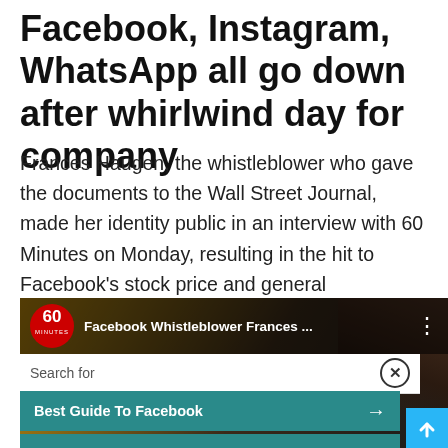Facebook, Instagram, WhatsApp all go down after whirlwind day for company
Frances Haugen, the whistleblower who gave the documents to the Wall Street Journal, made her identity public in an interview with 60 Minutes on Monday, resulting in the hit to Facebook's stock price and general functioning.
[Figure (screenshot): A 60 Minutes video thumbnail showing Frances Haugen, with a search overlay showing 'Best Guide To Facebook' and '10 Must Have Apps On Android' sponsored by Yahoo! Search.]